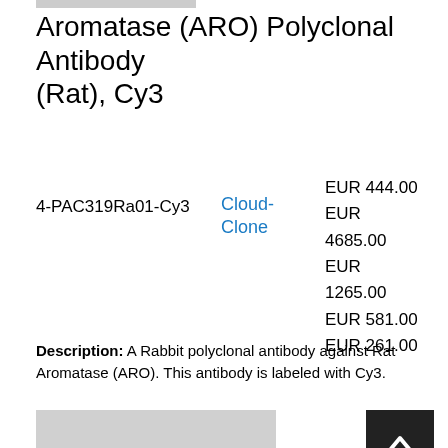Aromatase (ARO) Polyclonal Antibody (Rat), Cy3
| Product ID | Vendor | Price | Size |
| --- | --- | --- | --- |
| 4-PAC319Ra01-Cy3 | Cloud-Clone | EUR 444.00 |  |
|  |  | EUR 4685.00 | 100ul |
|  |  | EUR | 10ml |
|  |  | 1265.00 | 1ml |
|  |  | EUR 581.00 | 200ul |
|  |  | EUR 261.00 | 20ul |
Description: A Rabbit polyclonal antibody against Rat Aromatase (ARO). This antibody is labeled with Cy3.
[Figure (photo): Product image placeholder for Aromatase (ARO) Polyclonal Antibody (Rat)]
Aromatase (ARO) Polyclonal Antibody